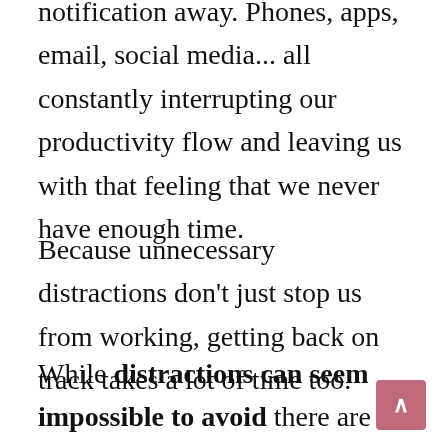notification away. Phones, apps, email, social media... all constantly interrupting our productivity flow and leaving us with that feeling that we never have enough time.
Because unnecessary distractions don't just stop us from working, getting back on track takes a lot of time too.
While distractions can seem impossible to avoid there are plenty of little hacks to make